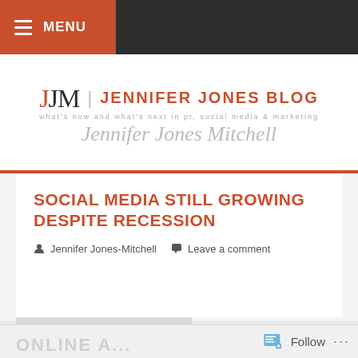MENU
[Figure (logo): Jennifer Jones Blog logo with JM monogram, tagline 'what's now and what's next in PR, social media & marketing', and script signature 'Jennifer Jones Mitchell']
SOCIAL MEDIA STILL GROWING DESPITE RECESSION
Jennifer Jones-Mitchell   Leave a comment
Follow